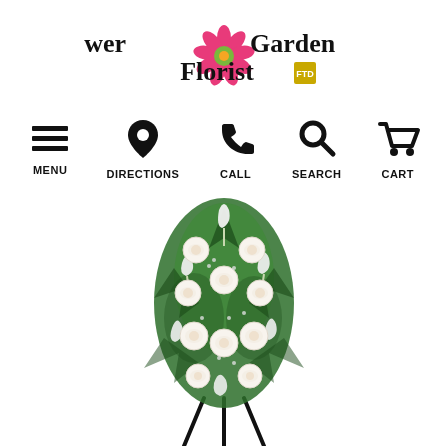[Figure (logo): Flower Garden Florist logo with pink daisy flower graphic and small FTD logo]
[Figure (infographic): Navigation bar with five icons: hamburger menu (MENU), location pin (DIRECTIONS), phone (CALL), magnifying glass (SEARCH), shopping cart (CART)]
[Figure (photo): Funeral standing spray arrangement with white roses and white calla lilies on a black stand, with green foliage and baby's breath]